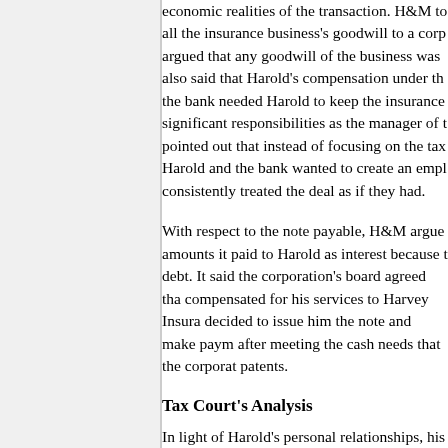economic realities of the transaction. H&M to all the insurance business's goodwill to a corp argued that any goodwill of the business was also said that Harold's compensation under th the bank needed Harold to keep the insurance significant responsibilities as the manager of t pointed out that instead of focusing on the tax Harold and the bank wanted to create an empl consistently treated the deal as if they had.
With respect to the note payable, H&M argue amounts it paid to Harold as interest because t debt. It said the corporation's board agreed tha compensated for his services to Harvey Insura decided to issue him the note and make paym after meeting the cash needs that the corporat patents.
Tax Court's Analysis
In light of Harold's personal relationships, his insurance agency, and his responsibilities as m Court found that the compensation that the ba